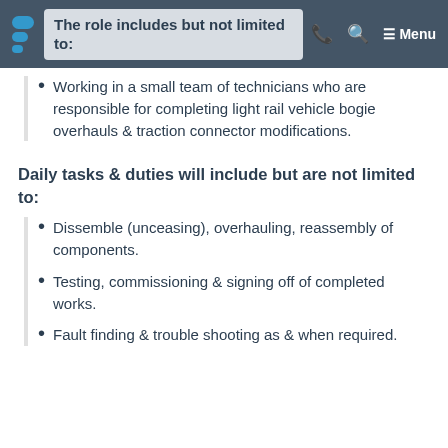The role includes but not limited to:
Working in a small team of technicians who are responsible for completing light rail vehicle bogie overhauls & traction connector modifications.
Daily tasks & duties will include but are not limited to:
Dissemble (unceasing), overhauling, reassembly of components.
Testing, commissioning & signing off of completed works.
Fault finding & trouble shooting as & when required.